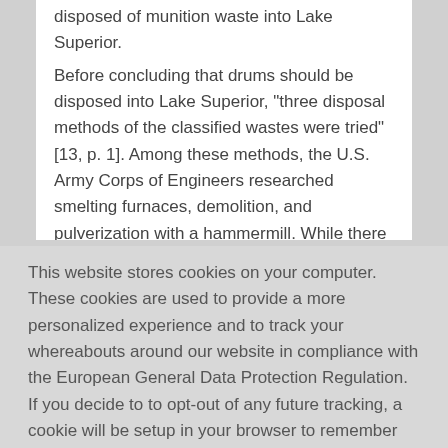disposed of munition waste into Lake Superior.
Before concluding that drums should be disposed into Lake Superior, "three disposal methods of the classified wastes were tried" [13, p. 1]. Among these methods, the U.S. Army Corps of Engineers researched smelting furnaces, demolition, and pulverization with a hammermill. While there were a few different options in 1959 for munition
This website stores cookies on your computer. These cookies are used to provide a more personalized experience and to track your whereabouts around our website in compliance with the European General Data Protection Regulation. If you decide to to opt-out of any future tracking, a cookie will be setup in your browser to remember this choice for one year.
Accept or Deny